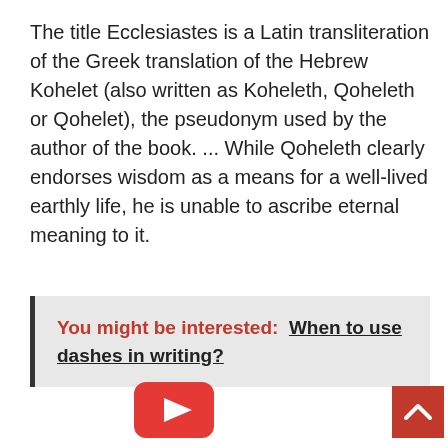The title Ecclesiastes is a Latin transliteration of the Greek translation of the Hebrew Kohelet (also written as Koheleth, Qoheleth or Qohelet), the pseudonym used by the author of the book. ... While Qoheleth clearly endorses wisdom as a means for a well-lived earthly life, he is unable to ascribe eternal meaning to it.
You might be interested: When to use dashes in writing?
[Figure (other): YouTube play button icon (red rounded rectangle with white triangle play arrow)]
[Figure (other): Red scroll-to-top button with white upward chevron arrow]